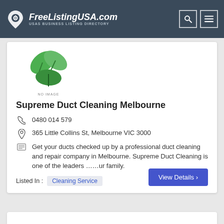FreeListingUSA.com — USAs BUSINESS LISTING DIRECTORY
[Figure (logo): Green leaves logo placeholder with 'NO IMAGE' label]
Supreme Duct Cleaning Melbourne
0480 014 579
365 Little Collins St, Melbourne VIC 3000
Get your ducts checked up by a professional duct cleaning and repair company in Melbourne. Supreme Duct Cleaning is one of the leaders ……ur family.
Listed In : Cleaning Service
View Details ›